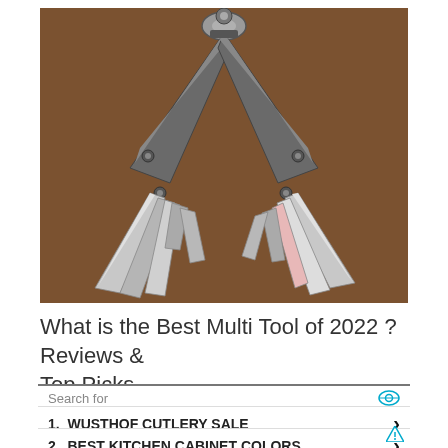[Figure (photo): A multi-tool (similar to a Leatherman) photographed open on a brown surface, showing pliers head at top and various blades/tools fanned out on both sides]
What is the Best Multi Tool of 2022 ? Reviews & Top Picks
Search for
1. WUSTHOF CUTLERY SALE
2. BEST KITCHEN CABINET COLORS